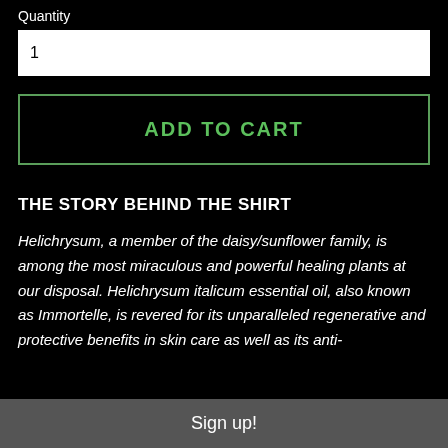Quantity
1
ADD TO CART
THE STORY BEHIND THE SHIRT
Helichrysum, a member of the daisy/sunflower family, is among the most miraculous and powerful healing plants at our disposal. Helichrysum italicum essential oil, also known as Immortelle, is revered for its unparalleled regenerative and protective benefits in skin care as well as its anti-
Sign up!